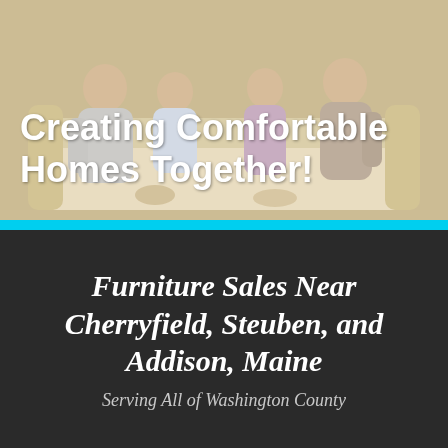[Figure (photo): A family of four (two parents and two children) sitting together on a cream-colored sofa in a living room, smiling. Text overlay reads 'Creating Comfortable Homes Together!']
Creating Comfortable Homes Together!
Furniture Sales Near Cherryfield, Steuben, and Addison, Maine
Serving All of Washington County